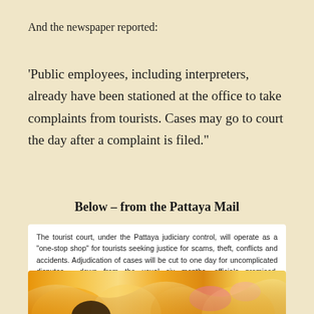And the newspaper reported:
'Public employees, including interpreters, already have been stationed at the office to take complaints from tourists. Cases may go to court the day after a complaint is filed."
Below – from the Pattaya Mail
The tourist court, under the Pattaya judiciary control, will operate as a "one-stop shop" for tourists seeking justice for scams, theft, conflicts and accidents. Adjudication of cases will be cut to one day for uncomplicated disputes - down from the usual six months, officials promised. Prosecution of felony cases, which normally take months or years, will be cut to a mere week, they claimed.
[Figure (photo): Colorful fabric or decorative arrangement in orange, yellow, and pink tones, partially visible at bottom of page]